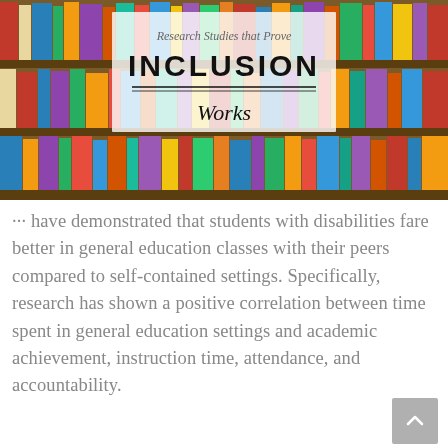[Figure (illustration): Photo of bookshelves filled with colorful books, overlaid with a semi-transparent white box containing text: 'Research Studies that Prove' (italic subtitle), 'INCLUSION' (large bold uppercase), a horizontal divider line, and 'Works' (italic).]
··· have demonstrated that students with disabilities fare better in general education classes with their peers compared to self-contained settings. Specifically, research has shown a positive correlation between time spent in general education settings and academic achievement, instruction time, attendance, and accountability.